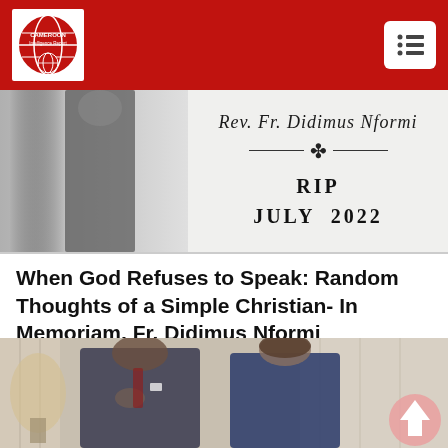[Figure (logo): Cameroon Intelligence Report logo - globe icon on red background]
[Figure (photo): Memorial photo of Fr. Didimus Nformi with cursive name, RIP and JULY 2022 text, man in dark suit silhouette on left]
When God Refuses to Speak: Random Thoughts of a Simple Christian- In Memoriam, Fr. Didimus Nformi
[Figure (photo): Photo of two people indoors - a man in a dark suit with hand on chest and a woman in a blue outfit, with curtains in background]